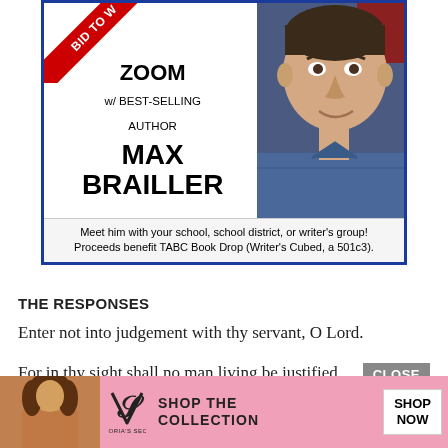[Figure (infographic): Advertisement banner for a 'Bid to Win' Zoom session with best-selling author Max Brailler. Features a red diagonal ribbon in the top-left corner, text on the left side, and a photo of the author on the right. Bottom reads: 'Meet him with your school, school district, or writer's group! Proceeds benefit TABC Book Drop (Writer's Cubed, a 501c3).']
THE RESPONSES
Enter not into judgement with thy servant, O Lord.
For in thy sight shall no man living be justified.
Grant unto him eternal rest.
And let
[Figure (infographic): Victoria's Secret bottom advertisement banner with model photo, VS logo, 'SHOP THE COLLECTION' text, and 'SHOP NOW' button]